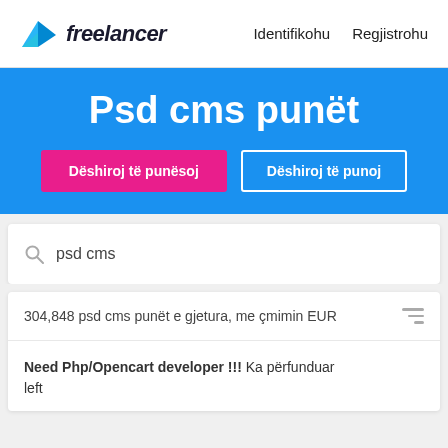[Figure (logo): Freelancer logo with cyan origami bird icon and italic bold text 'freelancer']
Identifikohu   Regjistrohu
Psd cms punët
Dëshiroj të punësoj
Dëshiroj të punoj
psd cms
304,848 psd cms punët e gjetura, me çmimin EUR
Need Php/Opencart developer !!!  Ka përfunduar left